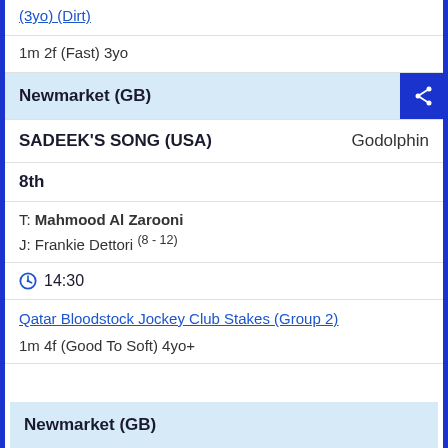(3yo) (Dirt)
1m 2f (Fast) 3yo
Newmarket (GB)
SADEEK'S SONG (USA)   Godolphin
8th
T: Mahmood Al Zarooni
J: Frankie Dettori (8 - 12)
14:30
Qatar Bloodstock Jockey Club Stakes (Group 2)
1m 4f (Good To Soft) 4yo+
Newmarket (GB)